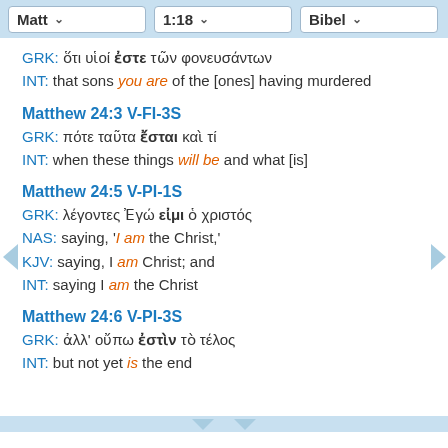Matt   1:18   Bibel
GRK: ὅτι υἱοί ἐστε τῶν φονευσάντων
INT: that sons you are of the [ones] having murdered
Matthew 24:3 V-FI-3S
GRK: πότε ταῦτα ἔσται καὶ τί
INT: when these things will be and what [is]
Matthew 24:5 V-PI-1S
GRK: λέγοντες Ἐγώ εἰμι ὁ χριστός
NAS: saying, 'I am the Christ,'
KJV: saying, I am Christ; and
INT: saying I am the Christ
Matthew 24:6 V-PI-3S
GRK: ἀλλ' οὔπω ἐστὶν τὸ τέλος
INT: but not yet is the end